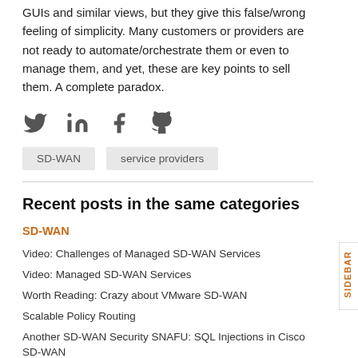GUIs and similar views, but they give this false/wrong feeling of simplicity. Many customers or providers are not ready to automate/orchestrate them or even to manage them, and yet, these are key points to sell them. A complete paradox.
[Figure (infographic): Social share icons: Twitter bird, LinkedIn 'in', Facebook 'f', GitHub octocat]
SD-WAN   service providers
Recent posts in the same categories
SD-WAN
Video: Challenges of Managed SD-WAN Services
Video: Managed SD-WAN Services
Worth Reading: Crazy about VMware SD-WAN
Scalable Policy Routing
Another SD-WAN Security SNAFU: SQL Injections in Cisco SD-WAN